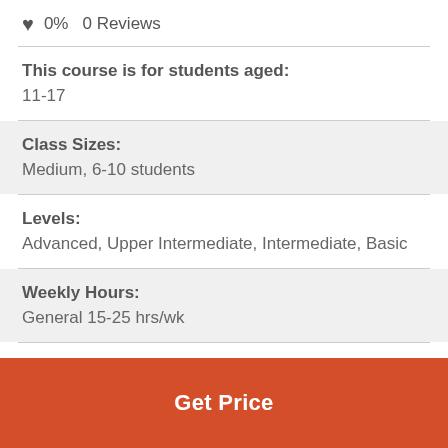♥ 0%  0 Reviews
This course is for students aged:
11-17
Class Sizes:
Medium, 6-10 students
Levels:
Advanced, Upper Intermediate, Intermediate, Basic
Weekly Hours:
General 15-25 hrs/wk
Location Type:
Town/City
Get Price